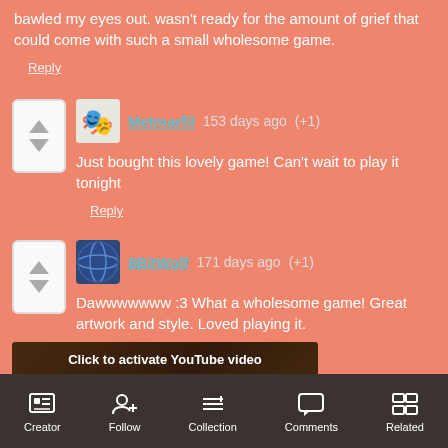bawled my eyes out. wasn't ready for the amount of grief that could come with such a small wholesome game.
Reply
Metmarfil  153 days ago  (+1)
Just bought this lovely game! Can't wait to play it tonight
Reply
8BitWolf  171 days ago  (+1)
Dawwwwwww :3 What a wholesome game! Great artwork and style. Loved playing it.
[Figure (screenshot): YouTube video embed stub showing 'Click to activate YouTube video' over a thumbnail with text 'LIEVE OMA' and a red play button]
Creator  Follow  Collection  Comments  Related